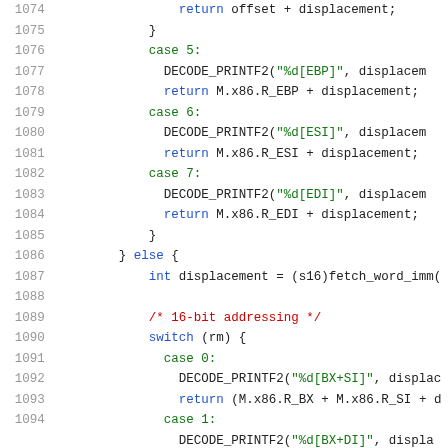[Figure (screenshot): Source code listing in a code editor showing C/C++ code lines 1074-1094, with syntax highlighting: line numbers in gray, keywords in blue, string literals in green, comments in red.]